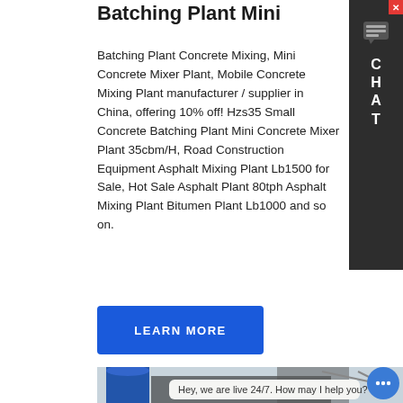Batching Plant Mini
Batching Plant Concrete Mixing, Mini Concrete Mixer Plant, Mobile Concrete Mixing Plant manufacturer / supplier in China, offering 10% off! Hzs35 Small Concrete Batching Plant Mini Concrete Mixer Plant 35cbm/H, Road Construction Equipment Asphalt Mixing Plant Lb1500 for Sale, Hot Sale Asphalt Plant 80tph Asphalt Mixing Plant Bitumen Plant Lb1000 and so on.
[Figure (other): Blue 'LEARN MORE' button]
[Figure (photo): Industrial concrete batching plant with large blue silo and mixing equipment under overcast sky. Chat overlay reads: Hey, we are live 24/7. How may I help you?]